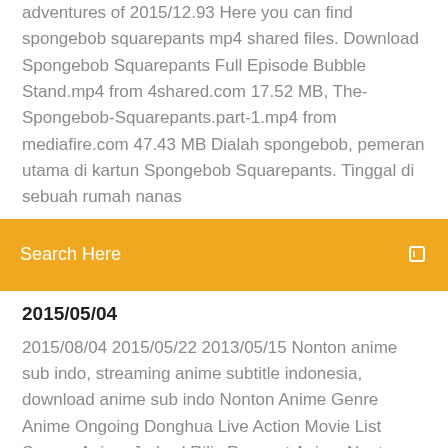adventures of 2015/12.93 Here you can find spongebob squarepants mp4 shared files. Download Spongebob Squarepants Full Episode Bubble Stand.mp4 from 4shared.com 17.52 MB, The-Spongebob-Squarepants.part-1.mp4 from mediafire.com 47.43 MB Dialah spongebob, pemeran utama di kartun Spongebob Squarepants. Tinggal di sebuah rumah nanas
Search Here
2015/05/04
2015/08/04 2015/05/22 2013/05/15 Nonton anime sub indo, streaming anime subtitle indonesia, download anime sub indo Nonton Anime Genre Anime Ongoing Donghua Live Action Movie List Semua Anime Jadwal Rilis Request Anime Nonton Anime - Nonton 2015/08/03 2010/01/07 Download Episode Spongebob Subtitle Indonesia | Episode Marching Band Squidward. Haloo spongebob lovers sekalian! Kali ini saya akan share salah satu episode spongebob favorit yang berjudul "Band Geeks" atau